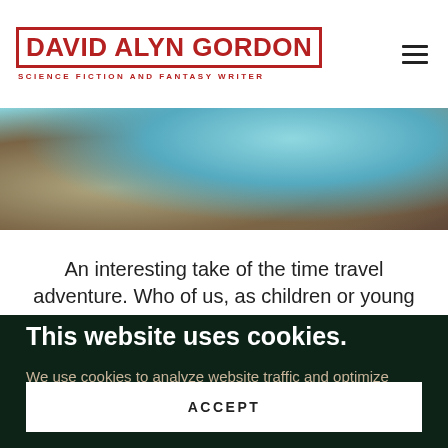DAVID ALYN GORDON
SCIENCE FICTION AND FANTASY WRITER
[Figure (photo): Aerial coastal photo showing rocky cliffs and blue-green ocean water]
An interesting take of the time travel adventure. Who of us, as children or young adults, did not wonder what it would be like to leave our humdrum lives and escape
This website uses cookies.
We use cookies to analyze website traffic and optimize your website experience. By accepting our use of cookies, your data will be aggregated with all other user data.
ACCEPT